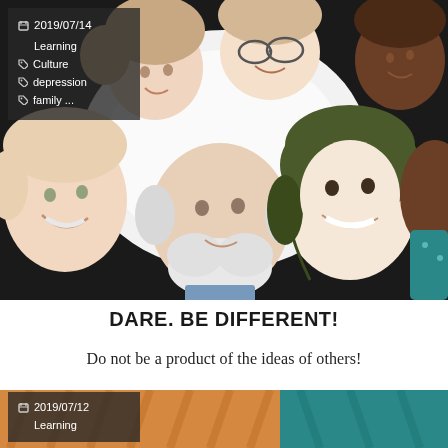[Figure (photo): Group of diverse smiling people huddled together in a circle, viewed from below, looking down at camera. Includes people of different ages, ethnicities, and backgrounds.]
2019/07/14
Learning
Culture
depression
family ...
DARE. BE DIFFERENT!
Do not be a product of the ideas of others!
[Figure (photo): Partial view of a person in a warm sweater, orange and teal tones visible.]
2019/07/12
Learning